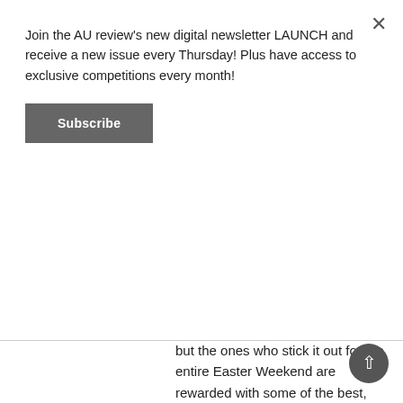Join the AU review's new digital newsletter LAUNCH and receive a new issue every Thursday! Plus have access to exclusive competitions every month!
Subscribe
but the ones who stick it out for the entire Easter Weekend are rewarded with some of the best, most profoundly satisfying live music […]
READ MORE
[Figure (logo): The AU Review logo — white text on dark background with circular logo badge]
Day Two of Bluesfest 2016 was all about powerful songwriting with City and Colour, The National, and more
March 25, 2016